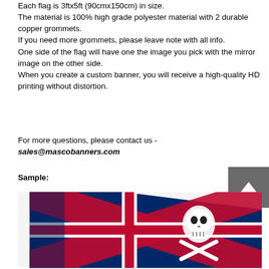Each flag is 3ftx5ft (90cmx150cm) in size.
The material is 100% high grade polyester material with 2 durable copper grommets.
If you need more grommets, please leave note with all info.
One side of the flag will have one the image you pick with the mirror image on the other side.
When you create a custom banner, you will receive a high-quality HD printing without distortion.
For more questions, please contact us -
sales@mascobanners.com
Sample:
[Figure (photo): Photo of a Union Jack (UK flag) with a skull and crossbones design, shown folded/draped]